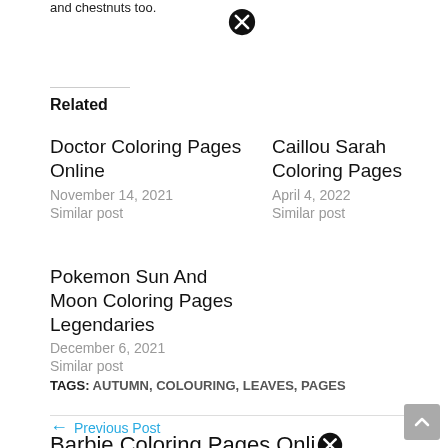and chestnuts too.
Related
Doctor Coloring Pages Online
November 14, 2021
Similar post
Caillou Sarah Coloring Pages
April 4, 2022
Similar post
Pokemon Sun And Moon Coloring Pages Legendaries
December 6, 2021
Similar post
TAGS: AUTUMN, COLOURING, LEAVES, PAGES
← Previous Post
Barbie Coloring Pages Onli…